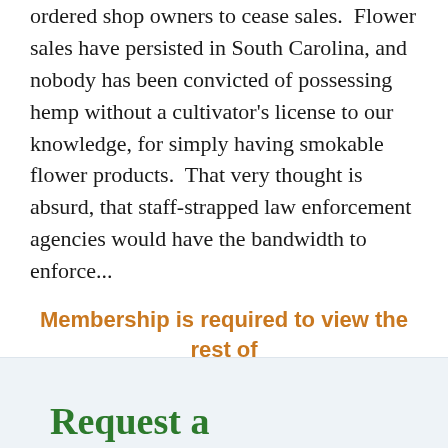ordered shop owners to cease sales.  Flower sales have persisted in South Carolina, and nobody has been convicted of possessing hemp without a cultivator's license to our knowledge, for simply having smokable flower products.  That very thought is absurd, that staff-strapped law enforcement agencies would have the bandwidth to enforce...
Membership is required to view the rest of this post. Click here to learn more and sign up for a free 7-day trial!
Request a